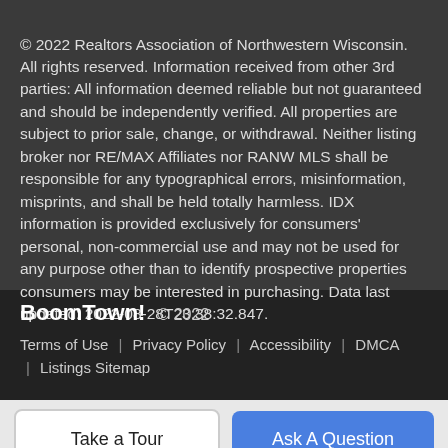© 2022 Realtors Association of Northwestern Wisconsin. All rights reserved. Information received from other 3rd parties: All information deemed reliable but not guaranteed and should be independently verified. All properties are subject to prior sale, change, or withdrawal. Neither listing broker nor RE/MAX Affiliates nor RANW MLS shall be responsible for any typographical errors, misinformation, misprints, and shall be held totally harmless. IDX information is provided exclusively for consumers' personal, non-commercial use and may not be used for any purpose other than to identify prospective properties consumers may be interested in purchasing. Data last updated: 2022-08-28T23:38:32.847.
BoomTown! © 2022
Terms of Use | Privacy Policy | Accessibility | DMCA | Listings Sitemap
Take a Tour
Ask A Question